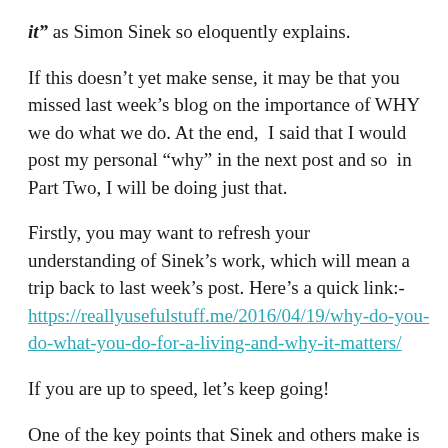"it" as Simon Sinek so eloquently explains.
If this doesn’t yet make sense, it may be that you missed last week’s blog on the importance of WHY we do what we do. At the end,  I said that I would post my personal “why” in the next post and so  in Part Two, I will be doing just that.
Firstly, you may want to refresh your understanding of Sinek’s work, which will mean a trip back to last week’s post. Here’s a quick link:- https://reallyusefulstuff.me/2016/04/19/why-do-you-do-what-you-do-for-a-living-and-why-it-matters/
If you are up to speed, let’s keep going!
One of the key points that Sinek and others make is that